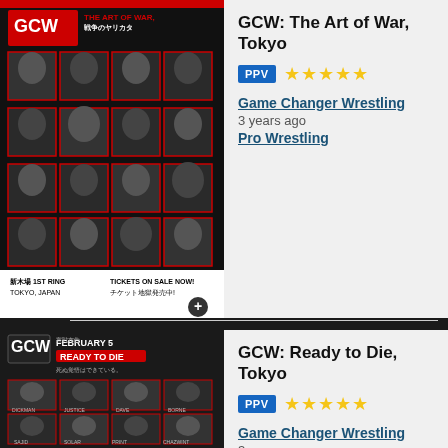[Figure (photo): GCW: The Art of War, Tokyo event poster showing wrestler portraits in a grid layout with Japanese text and venue info]
GCW: The Art of War, Tokyo
PPV ★★★★★
Game Changer Wrestling
3 years ago
Pro Wrestling
[Figure (photo): GCW: Ready to Die, Tokyo event poster (February 5) showing wrestler portraits in a grid layout with Japanese text]
GCW: Ready to Die, Tokyo
PPV ★★★★★
Game Changer Wrestling
3 years ago
Pro Wrestling